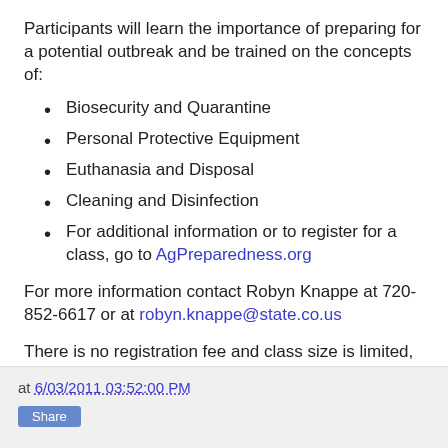Participants will learn the importance of preparing for a potential outbreak and be trained on the concepts of:
Biosecurity and Quarantine
Personal Protective Equipment
Euthanasia and Disposal
Cleaning and Disinfection
For additional information or to register for a class, go to AgPreparedness.org
For more information contact Robyn Knappe at 720-852-6617 or at robyn.knappe@state.co.us
There is no registration fee and class size is limited, so register early!
at 6/03/2011 03:52:00 PM